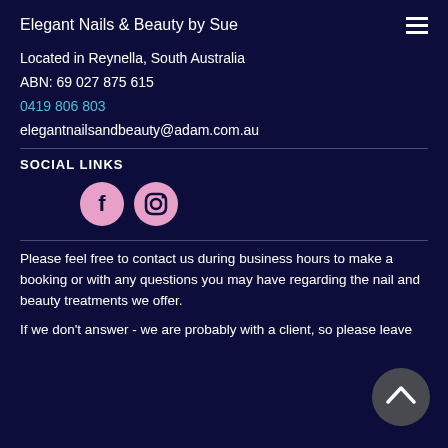Elegant Nails & Beauty by Sue
Located in Reynella, South Australia
ABN: 69 027 875 615
0419 806 803
elegantnailsandbeauty@adam.com.au
SOCIAL LINKS
[Figure (other): Facebook and Instagram social media icons in pink circles]
Please feel free to contact us during business hours to make a booking or with any questions you may have regarding the nail and beauty treatments we offer.
If we don't answer - we are probably with a client, so please leave